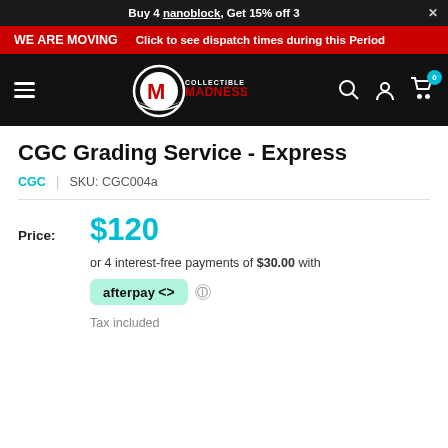Buy 4 nanoblock, Get 15% off 3
WE ARE MOVING   Click to see dispatch times during this Period
[Figure (logo): Collectible Madness logo with navigation icons (hamburger menu, search, account, cart with 0 badge)]
CGC Grading Service - Express
CGC | SKU: CGC004a
Price: $120
or 4 interest-free payments of $30.00 with afterpay<>
Tax included